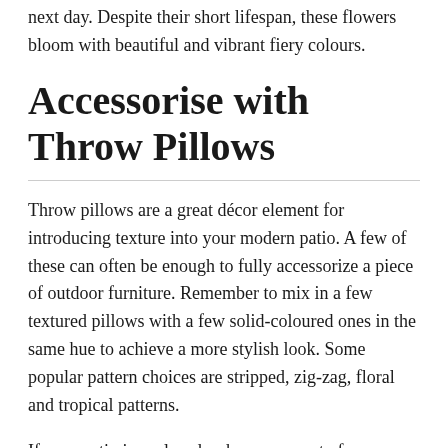next day. Despite their short lifespan, these flowers bloom with beautiful and vibrant fiery colours.
Accessorise with Throw Pillows
Throw pillows are a great décor element for introducing texture into your modern patio. A few of these can often be enough to fully accessorize a piece of outdoor furniture. Remember to mix in a few textured pillows with a few solid-coloured ones in the same hue to achieve a more stylish look. Some popular pattern choices are stripped, zig-zag, floral and tropical patterns.
If your patio is enclosed or has some sort of cover, you have many options for cushion materials, including cotton and linen. Otherwise, it's best to choose fabrics such as polyester